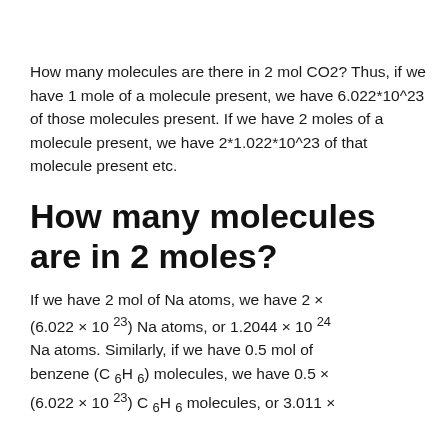How many molecules are there in 2 mol CO2? Thus, if we have 1 mole of a molecule present, we have 6.022*10^23 of those molecules present. If we have 2 moles of a molecule present, we have 2*1.022*10^23 of that molecule present etc.
How many molecules are in 2 moles?
If we have 2 mol of Na atoms, we have 2 × (6.022 × 10^23) Na atoms, or 1.2044 × 10^24 Na atoms. Similarly, if we have 0.5 mol of benzene (C6H6) molecules, we have 0.5 × (6.022 × 10^23) C6H6 molecules, or 3.011 ×